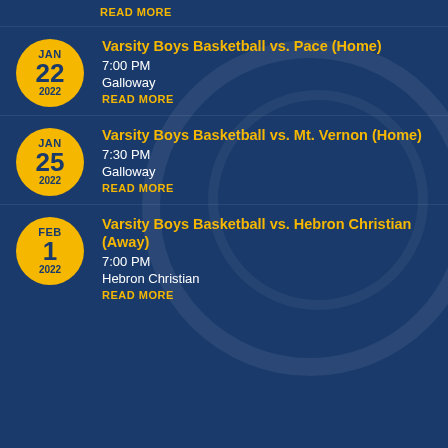READ MORE
Varsity Boys Basketball vs. Pace (Home)
7:00 PM
Galloway
READ MORE
JAN 22 2022
Varsity Boys Basketball vs. Mt. Vernon (Home)
7:30 PM
Galloway
READ MORE
JAN 25 2022
Varsity Boys Basketball vs. Hebron Christian (Away)
7:00 PM
Hebron Christian
READ MORE
FEB 1 2022